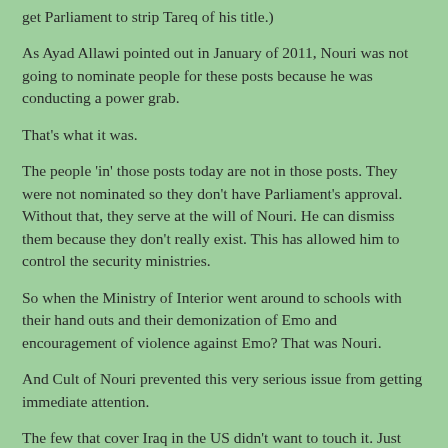get Parliament to strip Tareq of his title.)
As Ayad Allawi pointed out in January of 2011, Nouri was not going to nominate people for these posts because he was conducting a power grab.
That's what it was.
The people 'in' those posts today are not in those posts.  They were not nominated so they don't have Parliament's approval.  Without that, they serve at the will of Nouri.  He can dismiss them because they don't really exist.  This has allowed him to control the security ministries.
So when the Ministry of Interior went around to schools with their hand outs and their demonization of Emo and encouragement of violence against Emo?  That was Nouri.
And Cult of Nouri prevented this very serious issue from getting immediate attention.
The few that cover Iraq in the US didn't want to touch it.  Just like